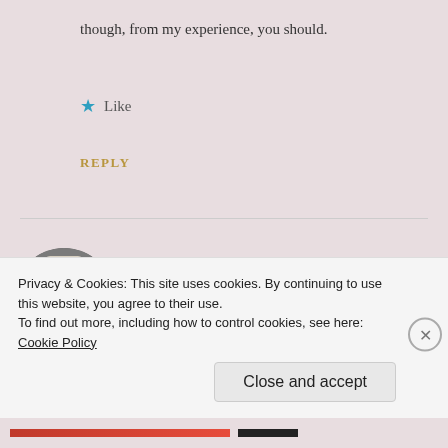though, from my experience, you should.
★ Like
REPLY
morganhowland
MARCH 29, 2014 AT 12:57 AM
I have found that my own editing process has
Privacy & Cookies: This site uses cookies. By continuing to use this website, you agree to their use.
To find out more, including how to control cookies, see here: Cookie Policy
Close and accept